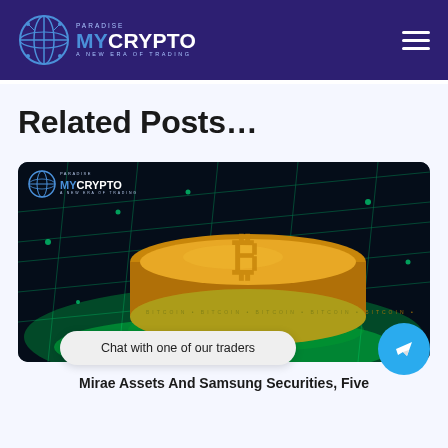MyCrypto Paradise — A New Era of Trading
Related Posts…
[Figure (photo): Bitcoin gold coin on dark green glowing blockchain network background, with MyCrypto Paradise logo watermark in top-left corner]
Chat with one of our traders
Mirae Assets And Samsung Securities, Five